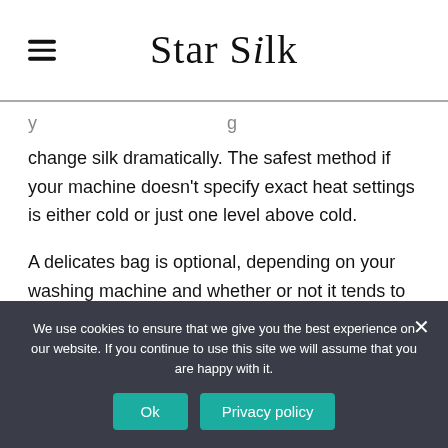Star Silk
change silk dramatically. The safest method if your machine doesn't specify exact heat settings is either cold or just one level above cold.

A delicates bag is optional, depending on your washing machine and whether or not it tends to grab items and tear them.
We use cookies to ensure that we give you the best experience on our website. If you continue to use this site we will assume that you are happy with it.